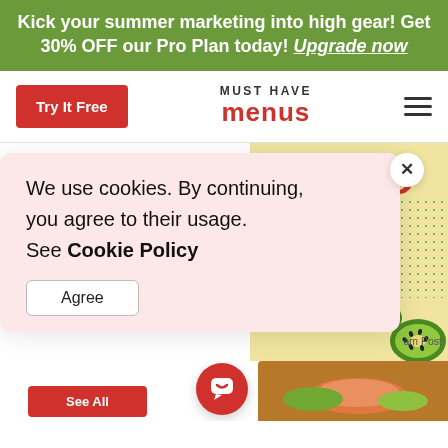Kick your summer marketing into high gear! Get 30% OFF our Pro Plan today! Upgrade now
[Figure (screenshot): Must Have Menus website navigation bar with Try It Free button, logo, and hamburger menu]
Catering Food Truck Instagram Post
[Figure (photo): Food truck image partially visible]
[Figure (illustration): BOGO promotional graphic with drinks and kiwi fruit on yellow background]
We use cookies. By continuing, you agree to their usage. See Cookie Policy
Agree
am Post